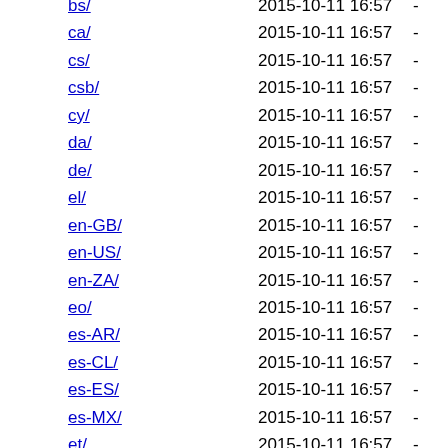bs/ 2015-10-11 16:57 -
ca/ 2015-10-11 16:57 -
cs/ 2015-10-11 16:57 -
csb/ 2015-10-11 16:57 -
cy/ 2015-10-11 16:57 -
da/ 2015-10-11 16:57 -
de/ 2015-10-11 16:57 -
el/ 2015-10-11 16:57 -
en-GB/ 2015-10-11 16:57 -
en-US/ 2015-10-11 16:57 -
en-ZA/ 2015-10-11 16:57 -
eo/ 2015-10-11 16:57 -
es-AR/ 2015-10-11 16:57 -
es-CL/ 2015-10-11 16:57 -
es-ES/ 2015-10-11 16:57 -
es-MX/ 2015-10-11 16:57 -
et/ 2015-10-11 16:57 -
eu/ 2015-10-11 16:57 -
fa/ 2015-10-11 16:57 -
ff/ 2015-10-11 16:57 -